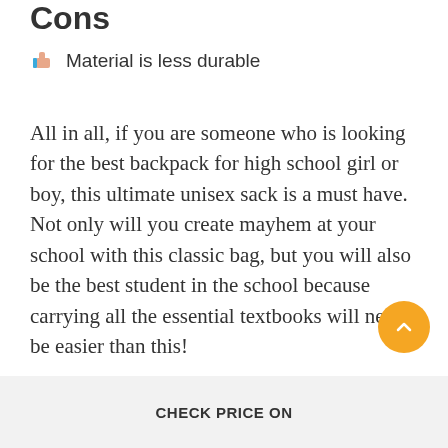Cons
Material is less durable
All in all, if you are someone who is looking for the best backpack for high school girl or boy, this ultimate unisex sack is a must have. Not only will you create mayhem at your school with this classic bag, but you will also be the best student in the school because carrying all the essential textbooks will never be easier than this!
CHECK PRICE ON